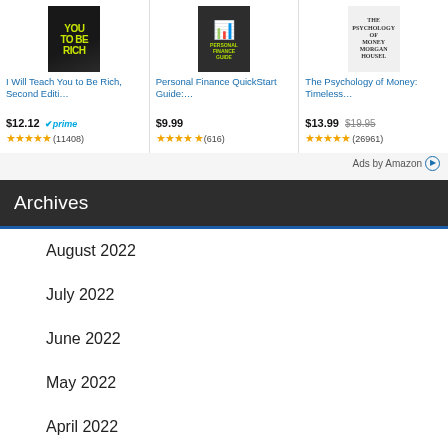[Figure (other): Amazon book ad: I Will Teach You to Be Rich, Second Edition - $12.12 prime, 4.5 stars (11408 reviews)]
[Figure (other): Amazon book ad: Personal Finance QuickStart Guide - $9.99, 4.5 stars (616 reviews)]
[Figure (other): Amazon book ad: The Psychology of Money: Timeless... - $13.99 (was $19.95), 5 stars (26961 reviews)]
Ads by Amazon
Archives
August 2022
July 2022
June 2022
May 2022
April 2022